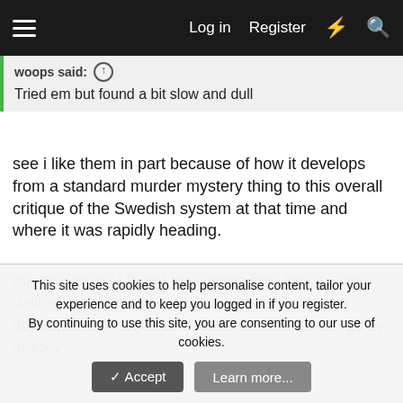Log in  Register
woops said: ↑
Tried em but found a bit slow and dull
see i like them in part because of how it develops from a standard murder mystery thing to this overall critique of the Swedish system at that time and where it was rapidly heading.
me personally i found the pacing fine, they're are deliberate but it comes off more immersive and atmospheric than other detective books which go by quickly
version
Well-known member
This site uses cookies to help personalise content, tailor your experience and to keep you logged in if you register.
By continuing to use this site, you are consenting to our use of cookies.
✓ Accept   Learn more...